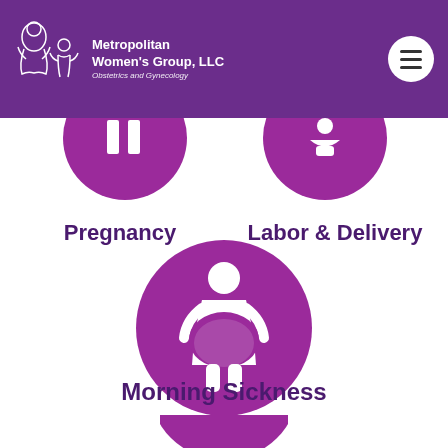[Figure (logo): Metropolitan Women's Group LLC logo with white figure illustration]
Metropolitan Women's Group, LLC
Obstetrics and Gynecology
[Figure (infographic): Purple circle with pregnancy icon (pause symbol)]
Pregnancy
[Figure (infographic): Purple circle with labor and delivery icon]
Labor & Delivery
[Figure (infographic): Purple circle with pregnant woman figure icon]
Morning Sickness
[Figure (infographic): Purple circle partially visible at bottom of page]